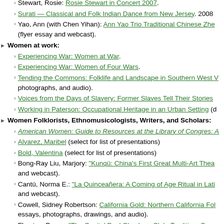Stewart, Rosie: Rosie Stewart in Concert 2007.
Surati — Classical and Folk Indian Dance from New Jersey. 2008
Yao, Ann (with Chen Yihan): Ann Yao Trio Traditional Chinese Zhe (flyer essay and webcast).
Women at work:
Experiencing War: Women at War.
Experiencing War: Women of Four Wars.
Tending the Commons: Folklife and Landscape in Southern West V photographs, and audio).
Voices from the Days of Slavery: Former Slaves Tell Their Stories
Working in Paterson: Occupational Heritage in an Urban Setting (d
Women Folklorists, Ethnomusicologists, Writers, and Scholars:
American Women: Guide to Resources at the Library of Congres: A
Alvarez, Maribel (select for list of presentations)
Bold, Valentina (select for list of presentations)
Bong-Ray Liu, Marjory: "Kunqü: China's First Great Multi-Art Thea and webcast).
Cantú, Norma E.: "La Quinceañera: A Coming of Age Ritual in Lati and webcast).
Cowell, Sidney Robertson: California Gold: Northern California Fol essays, photographs, drawings, and audio).
Fleming, Peggy: "The Capital Pool Checkers Club: Tradition, Comp presented by ethographic photographer Peggy Fleming with Profe Griffin and Tal Roberts. 2011 Botkin lecture (flyer essay and webca
Guthrie, Nora: "My Father, My Partner," presented by Nora Guthrie
Hinton, Leanne. "Reclaiming Lost Languages: The Breath of Life A